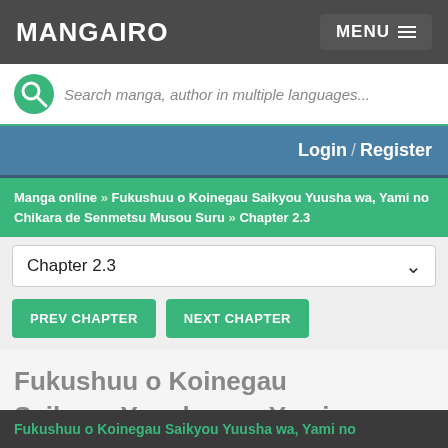MANGAIRO | MENU
Search manga, author in multiple languages...
Login / Register
Manga online » Fukushuu o Koinegau Saikyou Yuusha wa, Yami no Chikara de Senmetsu Musou Suru » Chapter 2.3
Chapter 2.3
PREV CHAPTER
NEXT CHAPTER
Fukushuu o Koinegau Saikyou Yuusha wa, Yami no Chikara de Senmetsu Musou Suru Chapter 2.3
Fukushuu o Koinegau Saikyou Yuusha wa, Yami no